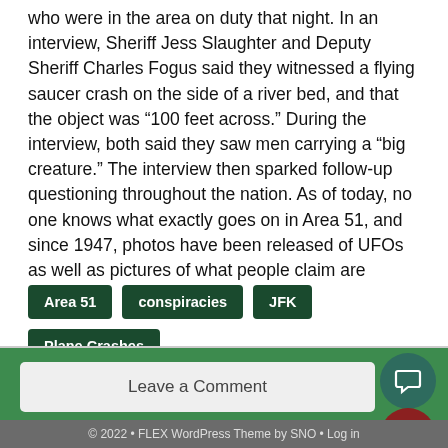who were in the area on duty that night. In an interview, Sheriff Jess Slaughter and Deputy Sheriff Charles Fogus said they witnessed a flying saucer crash on the side of a river bed, and that the object was "100 feet across." During the interview, both said they saw men carrying a "big creature." The interview then sparked follow-up questioning throughout the nation. As of today, no one knows what exactly goes on in Area 51, and since 1947, photos have been released of UFOs as well as pictures of what people claim are aliens.
Area 51
conspiracies
JFK
Plane Crashes
Leave a Comment
© 2022 • FLEX WordPress Theme by SNO • Log in